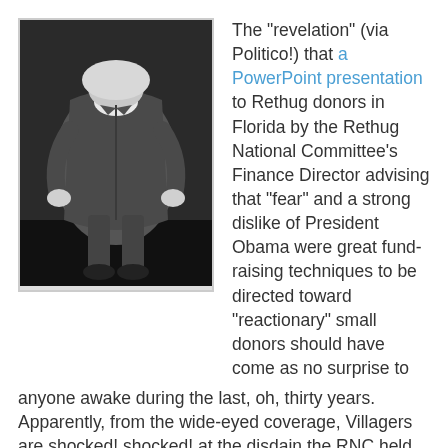[Figure (photo): Black and white photograph of a person in a suit bending over forward, head down, seen from behind and above.]
The "revelation" (via Politico!) that a PowerPoint presentation to Rethug donors in Florida by the Rethug National Committee's Finance Director advising that "fear" and a strong dislike of President Obama were great fund-raising techniques to be directed toward "reactionary" small donors should have come as no surprise to anyone awake during the last, oh, thirty years. Apparently, from the wide-eyed coverage, Villagers are shocked! shocked! at the disdain the RNC held for its base, as well as the shameless, tea-bagging use of offensive caricatures, naked fear-mongering, and simple-minded sloganeering to paint Democrats as the "Evil Empire." They had no idea there was gambling going on in this establishment! (As an aside, as more information becomes available on the right-wing Pentagon shooter, notice how the "mainstream media" refuse to characterize his politics, other than to say "He was